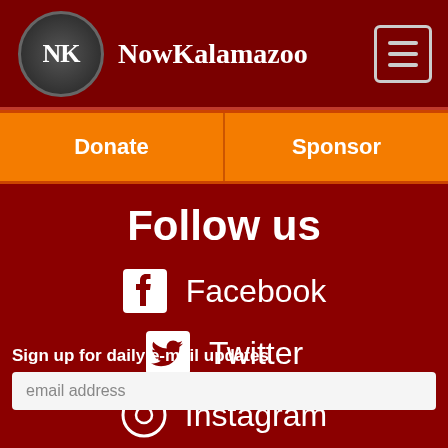NowKalamazoo
Donate
Sponsor
Follow us
Facebook
Twitter
Instagram
Sign up for daily e-mail updates
email address